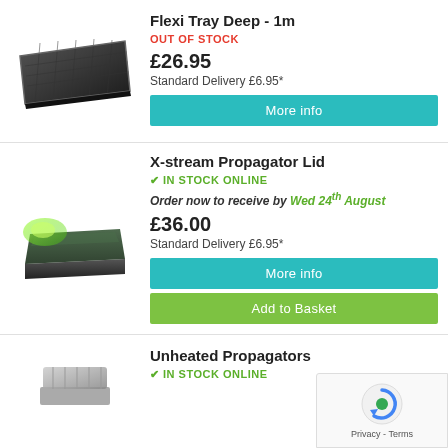[Figure (photo): Black Flexi Tray Deep 1m product image]
Flexi Tray Deep - 1m
OUT OF STOCK
£26.95
Standard Delivery £6.95*
More info
[Figure (photo): X-stream Propagator Lid product image]
X-stream Propagator Lid
IN STOCK ONLINE
Order now to receive by Wed 24th August
£36.00
Standard Delivery £6.95*
More info
Add to Basket
[Figure (photo): Unheated Propagators product image]
Unheated Propagators
IN STOCK ONLINE